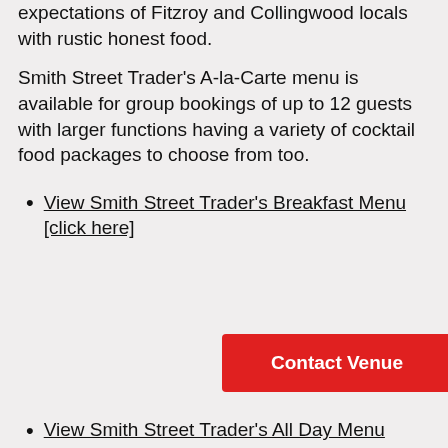expectations of Fitzroy and Collingwood locals with rustic honest food.
Smith Street Trader's A-la-Carte menu is available for group bookings of up to 12 guests with larger functions having a variety of cocktail food packages to choose from too.
View Smith Street Trader's Breakfast Menu [click here]
View Smith Street Trader's All Day Menu